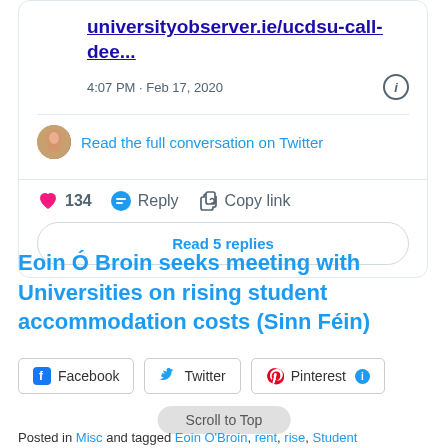universityobserver.ie/ucdsu-call-dee...
4:07 PM · Feb 17, 2020
Read the full conversation on Twitter
134  Reply  Copy link
Read 5 replies
Eoin Ó Broin seeks meeting with Universities on rising student accommodation costs (Sinn Féin)
Facebook  Twitter  Pinterest
Scroll to Top
Posted in Misc and tagged Eoin O'Broin, rent, rise, Student